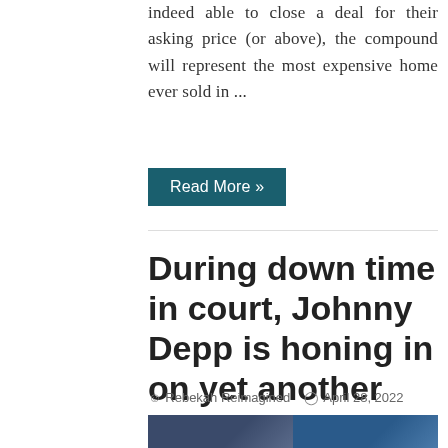indeed able to close a deal for their asking price (or above), the compound will represent the most expensive home ever sold in ...
Read More »
During down time in court, Johnny Depp is honing in on yet another one of his many talents
Rebekah Reimagined   April 28, 2022
[Figure (photo): Two side-by-side photos: left shows a man (Johnny Depp) at a court proceeding, right shows another figure against a blue background]